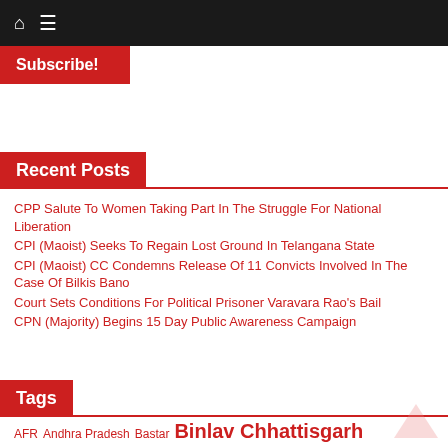Navigation bar with home icon and menu icon
Subscribe!
Recent Posts
CPP Salute To Women Taking Part In The Struggle For National Liberation
CPI (Maoist) Seeks To Regain Lost Ground In Telangana State
CPI (Maoist) CC Condemns Release Of 11 Convicts Involved In The Case Of Bilkis Bano
Court Sets Conditions For Political Prisoner Varavara Rao's Bail
CPN (Majority) Begins 15 Day Public Awareness Campaign
Tags
AFR Andhra Pradesh Bastar Binlav Chhattisaarh